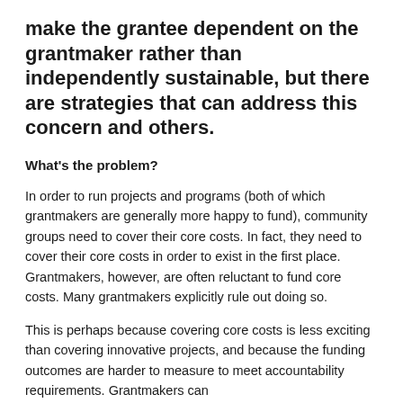make the grantee dependent on the grantmaker rather than independently sustainable, but there are strategies that can address this concern and others.
What's the problem?
In order to run projects and programs (both of which grantmakers are generally more happy to fund), community groups need to cover their core costs. In fact, they need to cover their core costs in order to exist in the first place. Grantmakers, however, are often reluctant to fund core costs. Many grantmakers explicitly rule out doing so.
This is perhaps because covering core costs is less exciting than covering innovative projects, and because the funding outcomes are harder to measure to meet accountability requirements. Grantmakers can